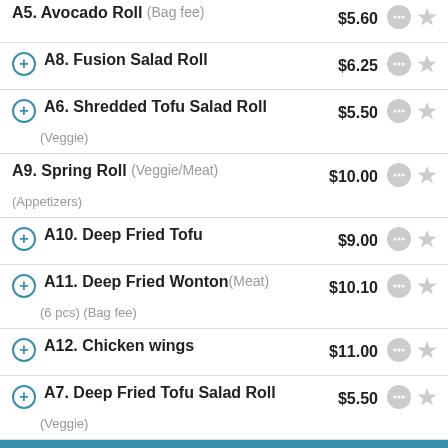A5. Avocado Roll (Bag fee) $5.60
A8. Fusion Salad Roll $6.25
A6. Shredded Tofu Salad Roll $5.50 (Veggie)
A9. Spring Roll (Veggie/Meat) $10.00 (Appetizers)
A10. Deep Fried Tofu $9.00
A11. Deep Fried Wonton (Meat) $10.10 (6 pcs) (Bag fee)
A12. Chicken wings $11.00
A7. Deep Fried Tofu Salad Roll $5.50 (Veggie)
A13. BBQ Beef Short Rib with Special Sauce (Bag fee) $19.10